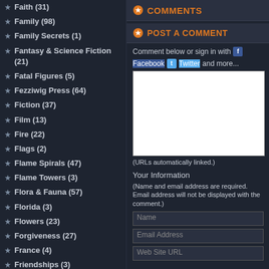Faith (31)
Family (98)
Family Secrets (1)
Fantasy & Science Fiction (21)
Fatal Figures (5)
Fezziwig Press (64)
Fiction (37)
Film (13)
Fire (22)
Flags (2)
Flame Spirals (47)
Flame Towers (3)
Flora & Fauna (57)
Florida (3)
Flowers (23)
Forgiveness (27)
France (4)
Friendships (3)
Fun Facts (7)
Gabby Giffords (14)
Galaxies (2)
Games (1)
Georgia (3)
Glass (4)
COMMENTS
POST A COMMENT
Comment below or sign in with Facebook Twitter and more...
(URLs automatically linked.)
Your Information
(Name and email address are required. Email address will not be displayed with the comment.)
Name
Email Address
Web Site URL